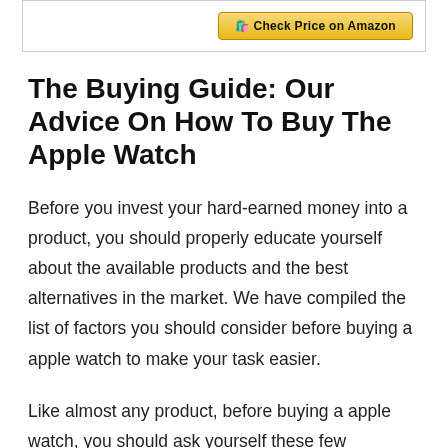[Figure (other): Partial top section of a bordered box with a gold Amazon button labeled 'Check Price on Amazon']
The Buying Guide: Our Advice On How To Buy The Apple Watch
Before you invest your hard-earned money into a product, you should properly educate yourself about the available products and the best alternatives in the market. We have compiled the list of factors you should consider before buying a apple watch to make your task easier.
Like almost any product, before buying a apple watch, you should ask yourself these few